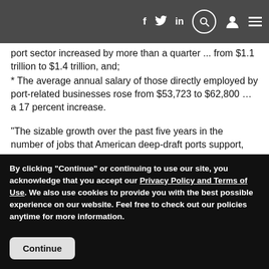f  t  in  [search]  [user]  [menu]
port sector increased by more than a quarter ... from $1.1 trillion to $1.4 trillion, and;
* The average annual salary of those directly employed by port-related businesses rose from $53,723 to $62,800 … a 17 percent increase.
“The sizable growth over the past five years in the number of jobs that American deep-draft ports support, the wages those jobs pay, and the tax revenues that are collected from the cargo activities at these ports is really quite
By clicking "Continue" or continuing to use our site, you acknowledge that you accept our Privacy Policy and Terms of Use. We also use cookies to provide you with the best possible experience on our website. Feel free to check out our policies anytime for more information.